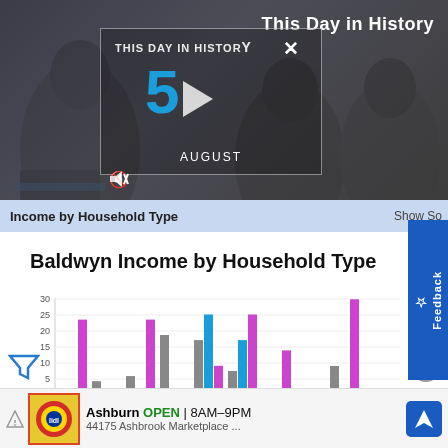[Figure (screenshot): Video player showing 'This Day in History' with date August 5, mute/progress/expand controls]
This Day in History
Income by Household Type    Show So
Baldwyn Income by Household Type
[Figure (grouped-bar-chart): Baldwyn Income by Household Type]
[Figure (other): Ad banner: Lidl store, Ashburn OPEN 8AM-9PM, 44175 Ashbrook Marketplace, navigation icon]